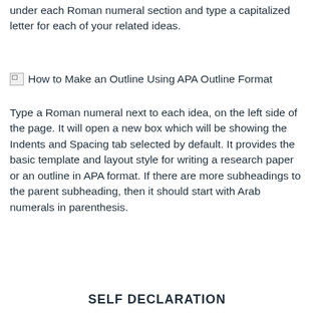under each Roman numeral section and type a capitalized letter for each of your related ideas.
[Figure (illustration): Broken image placeholder with alt text: How to Make an Outline Using APA Outline Format]
Type a Roman numeral next to each idea, on the left side of the page. It will open a new box which will be showing the Indents and Spacing tab selected by default. It provides the basic template and layout style for writing a research paper or an outline in APA format. If there are more subheadings to the parent subheading, then it should start with Arab numerals in parenthesis.
SELF DECLARATION